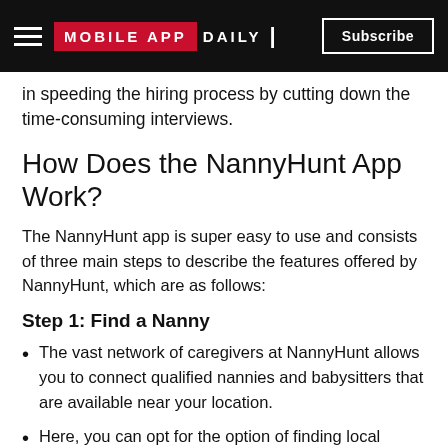MOBILE APP DAILY | Subscribe
in speeding the hiring process by cutting down the time-consuming interviews.
How Does the NannyHunt App Work?
The NannyHunt app is super easy to use and consists of three main steps to describe the features offered by NannyHunt, which are as follows:
Step 1: Find a Nanny
The vast network of caregivers at NannyHunt allows you to connect qualified nannies and babysitters that are available near your location.
Here, you can opt for the option of finding local nannies in your own city.
The NannyHunt app also helps its users in building connections with reliable nannies and babysitters available near selected locations.